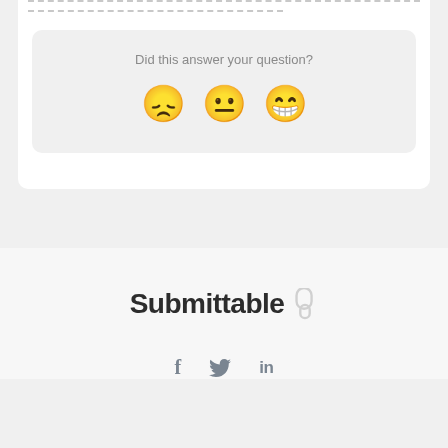[Figure (screenshot): Dashed lines at top of a white card, indicating truncated content above]
Did this answer your question?
[Figure (illustration): Three emoji faces: disappointed (frowning), neutral, and happy (big smile) for feedback rating]
[Figure (logo): Submittable logo with brand icon]
[Figure (illustration): Social media icons: Facebook (f), Twitter (bird), LinkedIn (in)]